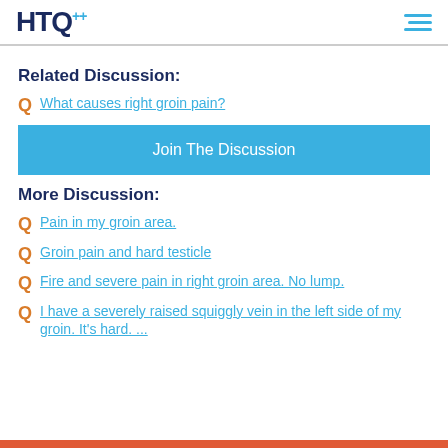HTQ
Related Discussion:
Q  What causes right groin pain?
Join The Discussion
More Discussion:
Q  Pain in my groin area.
Q  Groin pain and hard testicle
Q  Fire and severe pain in right groin area. No lump.
Q  I have a severely raised squiggly vein in the left side of my groin. It's hard. ...